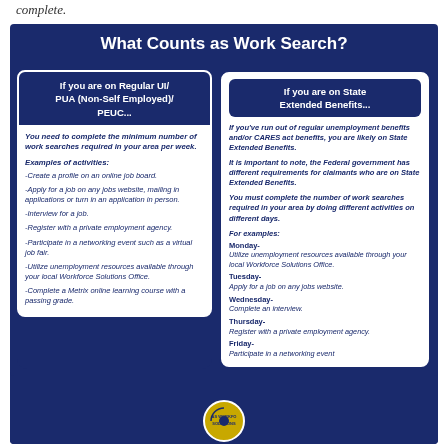complete.
What Counts as Work Search?
If you are on Regular UI/ PUA (Non-Self Employed)/ PEUC...
You need to complete the minimum number of work searches required in your area per week.
Examples of activities:
-Create a profile on an online job board.
-Apply for a job on any jobs website, mailing in applications or turn in an application in person.
-Interview for a job.
-Register with a private employment agency.
-Participate in a networking event such as a virtual job fair.
-Utilize unemployment resources available through your local Workforce Solutions Office.
-Complete a Metrix online learning course with a passing grade.
If you are on State Extended Benefits...
If you've run out of regular unemployment benefits and/or CARES act benefits, you are likely on State Extended Benefits.
It is important to note, the Federal government has different requirements for claimants who are on State Extended Benefits.
You must complete the number of work searches required in your area by doing different activities on different days.
For examples:
Monday- Utilize unemployment resources available through your local Workforce Solutions Office.
Tuesday- Apply for a job on any jobs website.
Wednesday- Complete an interview.
Thursday- Register with a private employment agency.
Friday- Participate in a networking event